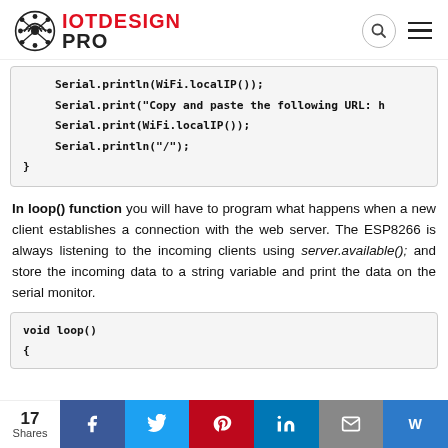IOT DESIGN PRO
In loop() function you will have to program what happens when a new client establishes a connection with the web server. The ESP8266 is always listening to the incoming clients using server.available(); and store the incoming data to a string variable and print the data on the serial monitor.